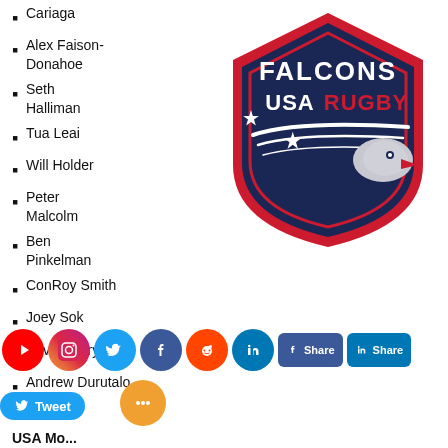Cariaga
Alex Faison-Donahoe
Seth Halliman
Tua Leai
Will Holder
Peter Malcolm
Ben Pinkelman
ConRoy Smith
Joey Sok
Kevin Swiryn
Andrew Durutalo
[Figure (logo): Falcons USA Rugby shield logo with eagle and stars, navy blue, red, and white colors]